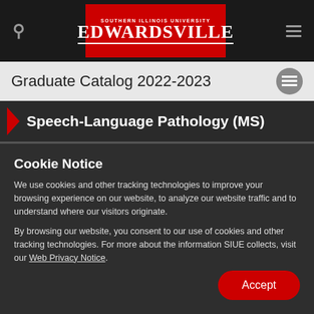[Figure (logo): Southern Illinois University Edwardsville logo on red background in black navigation bar]
Graduate Catalog 2022-2023
Speech-Language Pathology (MS)
Cookie Notice
We use cookies and other tracking technologies to improve your browsing experience on our website, to analyze our website traffic and to understand where our visitors originate.
By browsing our website, you consent to our use of cookies and other tracking technologies. For more about the information SIUE collects, visit our Web Privacy Notice.